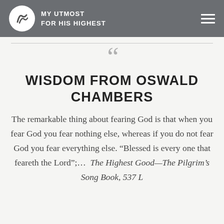MY UTMOST FOR HIS HIGHEST
WISDOM FROM OSWALD CHAMBERS
The remarkable thing about fearing God is that when you fear God you fear nothing else, whereas if you do not fear God you fear everything else. “Blessed is every one that feareth the Lord”;… The Highest Good—The Pilgrim’s Song Book, 537 L